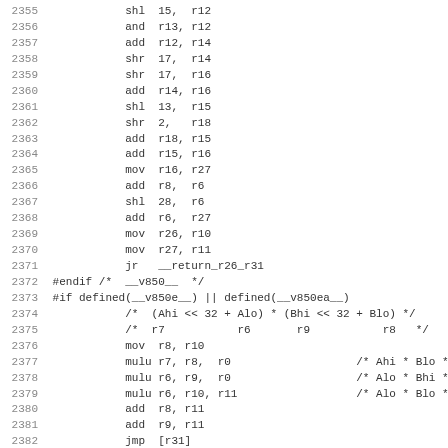Assembly source code listing, lines 2355-2386, showing v850/v850e/v850ea multiplication routines
2355    shl  15,  r12
2356    and  r13, r12
2357    add  r12, r14
2358    shr  17,  r14
2359    shr  17,  r16
2360    add  r14, r16
2361    shl  13,  r15
2362    shr  2,   r18
2363    add  r18, r15
2364    add  r15, r16
2365    mov  r16, r27
2366    add  r8,  r6
2367    shl  28,  r6
2368    add  r6,  r27
2369    mov  r26, r10
2370    mov  r27, r11
2371    jr   __return_r26_r31
2372 #endif /*  __v850__  */
2373 #if defined(__v850e__) || defined(__v850ea__)
2374        /*  (Ahi << 32 + Alo) * (Bhi << 32 + Blo) */
2375        /*  r7           r6       r9           r8   */
2376        mov  r8, r10
2377        mulu r7, r8,  r0                      /* Ahi * Blo */
2378        mulu r6, r9,  r0                      /* Alo * Bhi */
2379        mulu r6, r10, r11                     /* Alo * Blo */
2380        add  r8, r11
2381        add  r9, r11
2382        jmp  [r31]
2383
2384 #endif /* defined(__v850e__) || defined(__v850ea__) */
2385        .size ___muldi3, . - ___muldi3
2386 #endif